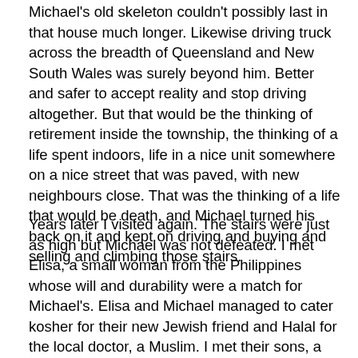Michael's old skeleton couldn't possibly last in that house much longer. Likewise driving truck across the breadth of Queensland and New South Wales was surely beyond him. Better and safer to accept reality and stop driving altogether. But that would be the thinking of retirement inside the township, the thinking of a life spent indoors, life in a nice unit somewhere on a nice street that was paved, with new neighbours close. That was the thinking of a life that would be death, and Michael turned his back on it and kept on driving and buying and selling and climbing those stairs.
Years later I visited again. The stairs were just as high but Michael was not defeated. I met Elisa, a small woman from the Philippines whose will and durability were a match for Michael's. Elisa and Michael managed to cater kosher for their new Jewish friend and Halal for the local doctor, a Muslim. I met their sons, a pair of pocket Hercules. The young men are body builders. Powerful bodies are all the go in Michael's tribe.